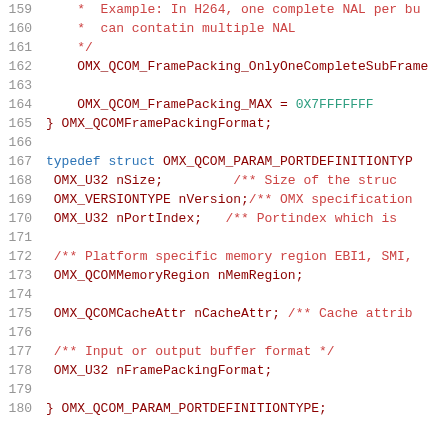[Figure (screenshot): Source code listing in C/C++ showing lines 159-180 of a header file defining OMX_QCOM frame packing and port definition types, with line numbers in gray, code in dark red, comments in lighter red, keywords in blue, and hex values in teal.]